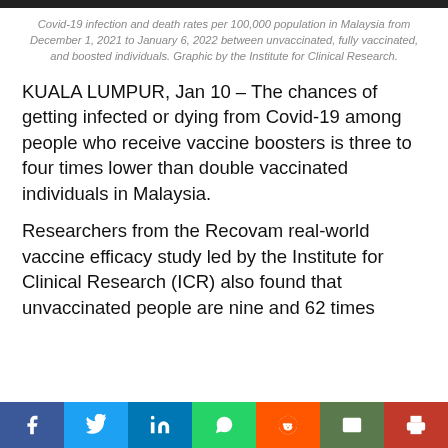Covid-19 infection and death rates per 100,000 population in Malaysia from December 1, 2021 to January 6, 2022 between unvaccinated, fully vaccinated, and boosted individuals. Graphic by the Institute for Clinical Research.
KUALA LUMPUR, Jan 10 – The chances of getting infected or dying from Covid-19 among people who receive vaccine boosters is three to four times lower than double vaccinated individuals in Malaysia.
Researchers from the Recovam real-world vaccine efficacy study led by the Institute for Clinical Research (ICR) also found that unvaccinated people are nine and 62 times
Social share bar: Facebook, Twitter, LinkedIn, WhatsApp, Reddit, Email, Print